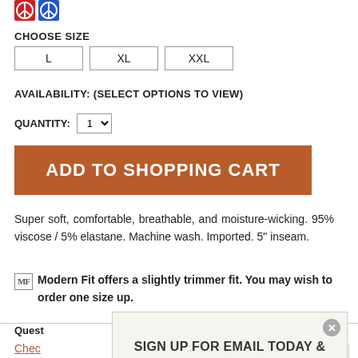[Figure (logo): Two circular peace sign icons side by side in red/white/blue colors]
CHOOSE SIZE
L   XL   XXL
AVAILABILITY: (SELECT OPTIONS TO VIEW)
QUANTITY:
ADD TO SHOPPING CART
Super soft, comfortable, breathable, and moisture-wicking. 95% viscose / 5% elastane. Machine wash. Imported. 5" inseam.
MF Modern Fit offers a slightly trimmer fit. You may wish to order one size up.
Quest
Chec
[Figure (screenshot): Popup overlay: SIGN UP FOR EMAIL TODAY & GET 10% OFF + FREE SHIPPING with close button and input field]